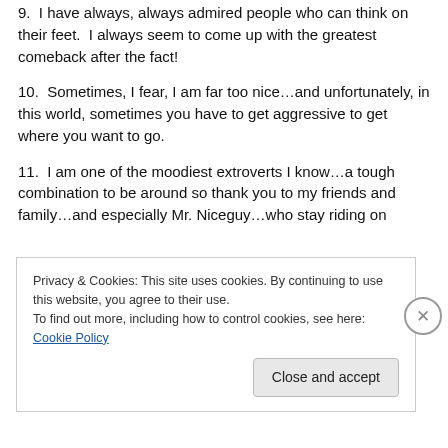9.  I have always, always admired people who can think on their feet.  I always seem to come up with the greatest comeback after the fact!
10.  Sometimes, I fear, I am far too nice…and unfortunately, in this world, sometimes you have to get aggressive to get where you want to go.
11.  I am one of the moodiest extroverts I know…a tough combination to be around so thank you to my friends and family…and especially Mr. Niceguy…who stay riding on
Privacy & Cookies: This site uses cookies. By continuing to use this website, you agree to their use.
To find out more, including how to control cookies, see here: Cookie Policy